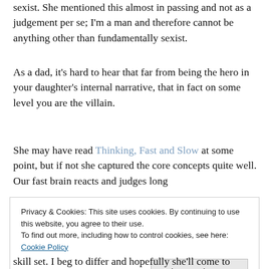sexist. She mentioned this almost in passing and not as a judgement per se; I'm a man and therefore cannot be anything other than fundamentally sexist.
As a dad, it's hard to hear that far from being the hero in your daughter's internal narrative, that in fact on some level you are the villain.
She may have read Thinking, Fast and Slow at some point, but if not she captured the core concepts quite well. Our fast brain reacts and judges long
Privacy & Cookies: This site uses cookies. By continuing to use this website, you agree to their use.
To find out more, including how to control cookies, see here: Cookie Policy
skill set. I beg to differ and hopefully she'll come to